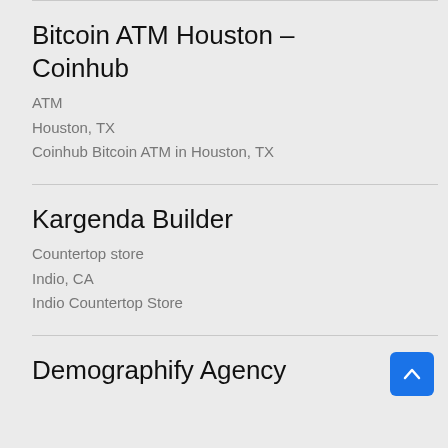Bitcoin ATM Houston – Coinhub
ATM
Houston, TX
Coinhub Bitcoin ATM in Houston, TX
Kargenda Builder
Countertop store
Indio, CA
Indio Countertop Store
Demographify Agency